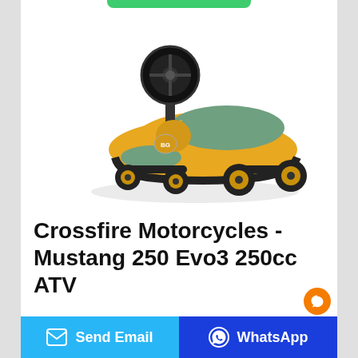[Figure (photo): Yellow and green children's ride-on wiggle/plasma car toy with black steering wheel and black wheels]
Crossfire Motorcycles - Mustang 250 Evo3 250cc ATV
Mustang 250 Evo3. $4,700 *. *Note: All prices are
Send Email
WhatsApp